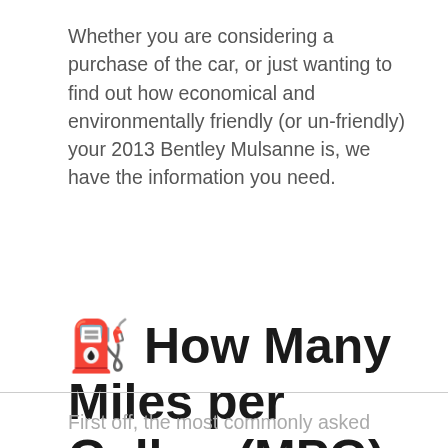Whether you are considering a purchase of the car, or just wanting to find out how economical and environmentally friendly (or un-friendly) your 2013 Bentley Mulsanne is, we have the information you need.
⛽ How Many Miles per Gallon (MPG) Does a 2013 Bentley Mulsanne Get?
First off, the most commonly asked